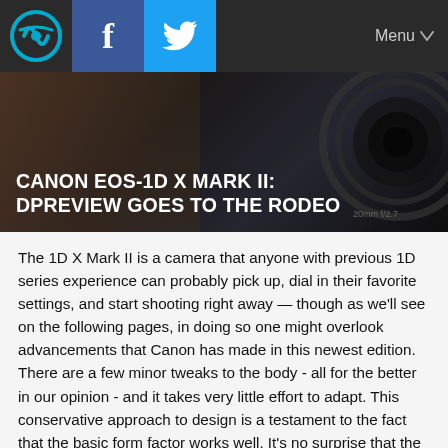Menu
[Figure (screenshot): Website navigation bar with logo, Facebook and Twitter icons, and Menu dropdown]
[Figure (photo): Hero image of Canon EOS-1D X Mark II camera with overlay title text: CANON EOS-1D X MARK II: DPREVIEW GOES TO THE RODEO]
CANON EOS-1D X MARK II: DPREVIEW GOES TO THE RODEO
The 1D X Mark II is a camera that anyone with previous 1D series experience can probably pick up, dial in their favorite settings, and start shooting right away — though as we'll see on the following pages, in doing so one might overlook advancements that Canon has made in this newest edition. There are a few minor tweaks to the body - all for the better in our opinion - and it takes very little effort to adapt. This conservative approach to design is a testament to the fact that the basic form factor works well. It's no surprise that the designs of both the Canon 1D and Nixon Dx series are quite similar and haven't seen many changes to the basic design over the years.
Conservative changes to the body notwithstanding, the 1D X II is full of new and updated technology designed to make the camera one of the top performing models in the